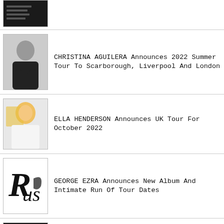[Figure (photo): Dark album/poster image thumbnail at top]
[Figure (photo): Christina Aguilera photo in black outfit]
CHRISTINA AGUILERA Announces 2022 Summer Tour To Scarborough, Liverpool And London
[Figure (photo): Ella Henderson blonde hair white outfit photo]
ELLA HENDERSON Announces UK Tour For October 2022
[Figure (photo): George Ezra Rus logo/album art in black and white]
GEORGE EZRA Announces New Album And Intimate Run Of Tour Dates
[Figure (photo): Death Drop HD logo yellow letters on black]
DEATH DROP Returns To London's West End For A Third Season Starring JUJUBEE, KITTY SCOTT-CLAUS And HOLLY STARS
[Figure (photo): Cirque Du Soleil Luzia colorful performance image]
Review: Cirque Du Soleil - Luzia - Royal Albert Hall, London ★★★★★